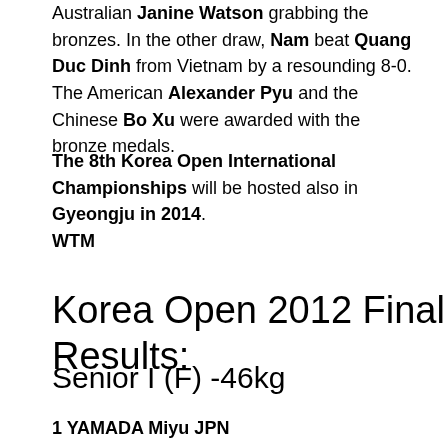Australian Janine Watson grabbing the bronzes. In the other draw, Nam beat Quang Duc Dinh from Vietnam by a resounding 8-0. The American Alexander Pyu and the Chinese Bo Xu were awarded with the bronze medals.
The 8th Korea Open International Championships will be hosted also in Gyeongju in 2014.
WTM
Korea Open 2012 Final Results:
Senior I (F) -46kg
1 YAMADA Miyu JPN